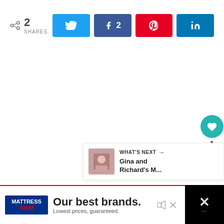[Figure (screenshot): Social share bar with share count (2 SHARES), Twitter button, Facebook button with count 2, Pinterest button, and LinkedIn button]
[Figure (screenshot): Floating right sidebar with teal heart/like button, count 1, and share circle button]
[Figure (screenshot): What's Next card with thumbnail and text 'Gina and Richard's M...']
[Figure (screenshot): Mattress Firm advertisement banner: 'Our best brands. Lowest prices, guaranteed.']